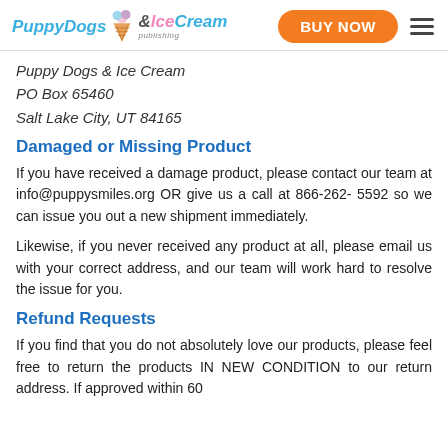Puppy Dogs & Ice Cream publishing — BUY NOW
Puppy Dogs & Ice Cream
PO Box 65460
Salt Lake City, UT 84165
Damaged or Missing Product
If you have received a damage product, please contact our team at info@puppysmiles.org OR give us a call at 866-262- 5592 so we can issue you out a new shipment immediately.
Likewise, if you never received any product at all, please email us with your correct address, and our team will work hard to resolve the issue for you.
Refund Requests
If you find that you do not absolutely love our products, please feel free to return the products IN NEW CONDITION to our return address. If approved within 60